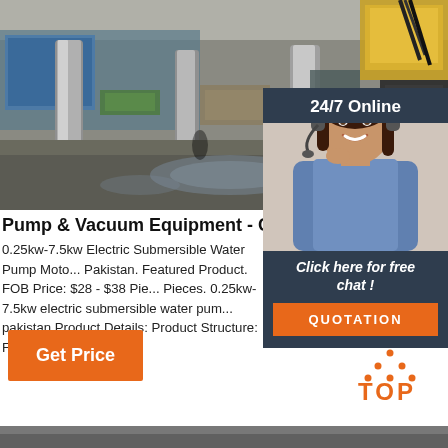[Figure (photo): Industrial factory interior showing large metal columns/pipes with water on the floor, industrial equipment visible in the background]
[Figure (photo): 24/7 Online customer service widget showing a smiling female agent wearing a headset, with 'Click here for free chat!' text and orange QUOTATION button]
Pump & Vacuum Equipment - China Pump, Wa
0.25kw-7.5kw Electric Submersible Water Pump Moto... Pakistan. Featured Product. FOB Price: $28 - $38 Pie... Pieces. 0.25kw-7.5kw electric submersible water pum... pakistan Product Details: Product Structure: Full ...
[Figure (other): Orange 'Get Price' button]
[Figure (other): Orange TOP icon with dotted triangle above the text TOP]
[Figure (photo): Bottom strip showing a dark industrial surface]